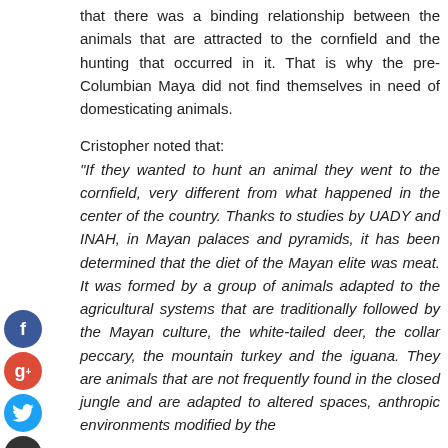that there was a binding relationship between the animals that are attracted to the cornfield and the hunting that occurred in it. That is why the pre-Columbian Maya did not find themselves in need of domesticating animals.
Cristopher noted that: “If they wanted to hunt an animal they went to the cornfield, very different from what happened in the center of the country. Thanks to studies by UADY and INAH, in Mayan palaces and pyramids, it has been determined that the diet of the Mayan elite was meat. It was formed by a group of animals adapted to the agricultural systems that are traditionally followed by the Mayan culture, the white-tailed deer, the collar peccary, the mountain turkey and the iguana. They are animals that are not frequently found in the closed jungle and are adapted to altered spaces, anthropic environments modified by the